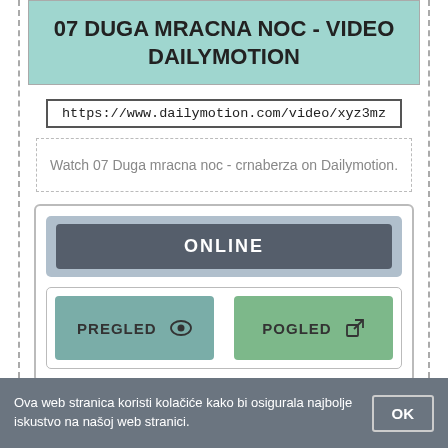07 DUGA MRACNA NOC - VIDEO DAILYMOTION
https://www.dailymotion.com/video/xyz3mz
Watch 07 Duga mracna noc - crnaberza on Dailymotion.
[Figure (screenshot): Widget with ONLINE label, PREGLED (eye icon) and POGLED (external link icon) buttons]
Ova web stranica koristi kolačiće kako bi osigurala najbolje iskustvo na našoj web stranici.